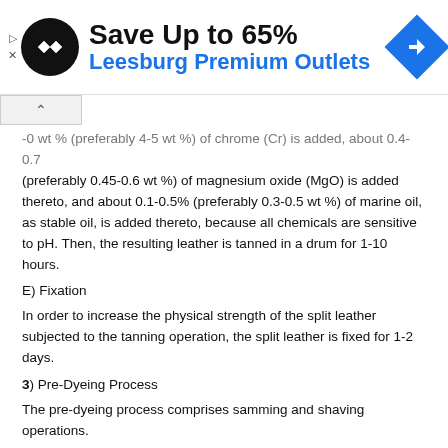[Figure (other): Advertisement banner: Save Up to 65% Leesburg Premium Outlets with logo and navigation icon]
-0 wt % (preferably 4-5 wt %) of chrome (Cr) is added, about 0.4-0.7 (preferably 0.45-0.6 wt %) of magnesium oxide (MgO) is added thereto, and about 0.1-0.5% (preferably 0.3-0.5 wt %) of marine oil, as stable oil, is added thereto, because all chemicals are sensitive to pH. Then, the resulting leather is tanned in a drum for 1-10 hours.
E) Fixation
In order to increase the physical strength of the split leather subjected to the tanning operation, the split leather is fixed for 1-2 days.
3) Pre-Dyeing Process
The pre-dyeing process comprises samming and shaving operations.
A) Samming
If the leather is wet with water during the period from the tanning process to the aging process, it is not easily shaved. Samming is carried out to mechanically remove water from the leather so as to precisely adjust the thickness of the leather in a subsequent shaving step. The samming is